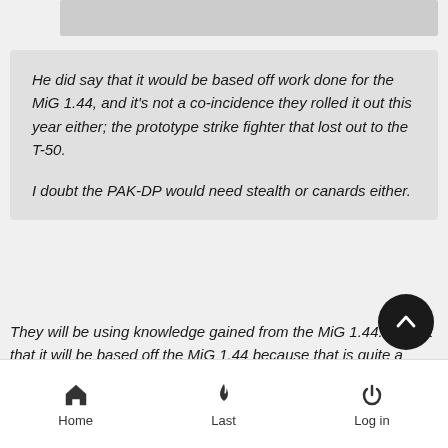[Figure (photo): Gray image placeholder bar at top of page]
He did say that it would be based off work done for the MiG 1.44, and it's not a co-incidence they rolled it out this year either; the prototype strike fighter that lost out to the T-50.

I doubt the PAK-DP would need stealth or canards either.
They will be using knowledge gained from the MiG 1.44. I doubt that it will be based off the MiG 1.44 because that is quite a large aircraft. If anyone wants to see a finished but flawed MiG 1.44, look at the Chinese J-20 (blatantly stolen).
Methinks that it might be based on the MiG-35. It is a sm fighter already and it is a great fighter  already with further potential still (i.e. 3D TVC engines). To bring it up to a 5th
Home   Last   Log in